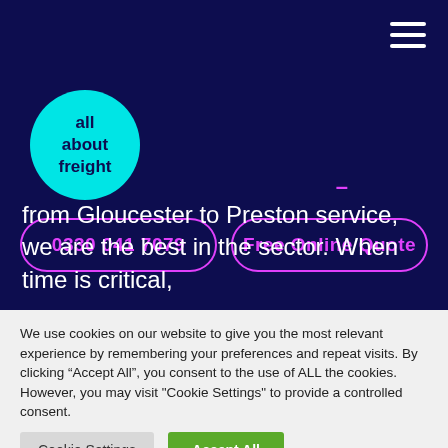[Figure (logo): All About Freight circular logo in cyan/teal color with dark navy text]
0330 041 7079
Free Online Quote
from Gloucester to Preston service, we are the best in the sector. When time is critical,
We use cookies on our website to give you the most relevant experience by remembering your preferences and repeat visits. By clicking “Accept All”, you consent to the use of ALL the cookies. However, you may visit "Cookie Settings" to provide a controlled consent.
Cookie Settings
Accept All